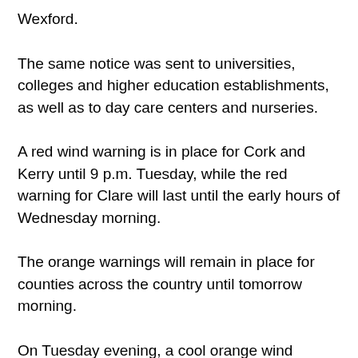Wexford.
The same notice was sent to universities, colleges and higher education establishments, as well as to day care centers and nurseries.
A red wind warning is in place for Cork and Kerry until 9 p.m. Tuesday, while the red warning for Clare will last until the early hours of Wednesday morning.
The orange warnings will remain in place for counties across the country until tomorrow morning.
On Tuesday evening, a cool orange wind warning was issued for Dublin from 1 a.m. on Wednesday morning and until 7 a.m. the same day.